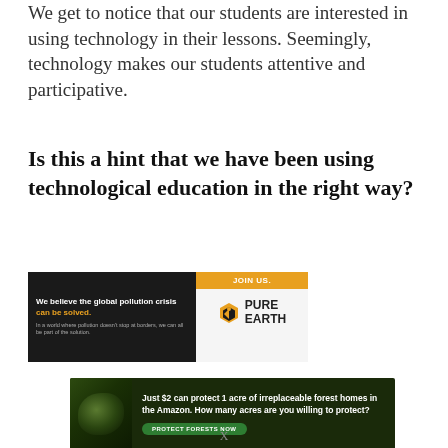We get to notice that our students are interested in using technology in their lessons. Seemingly, technology makes our students attentive and participative.
Is this a hint that we have been using technological education in the right way?
[Figure (illustration): Pure Earth advertisement banner: dark background on left with text 'We believe the global pollution crisis can be solved. In a world where pollution doesn't stop at borders, we can all be part of the solution.' Orange button top right reading 'JOIN US.' and Pure Earth logo with diamond icon on white/grey background.]
[Figure (illustration): Amazon forest conservation ad: dark green background with image of animal in jungle. Text: 'Just $2 can protect 1 acre of irreplaceable forest homes in the Amazon. How many acres are you willing to protect?' Green button: 'PROTECT FORESTS NOW']
X